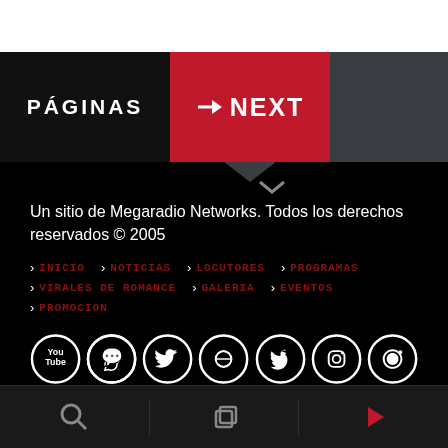PÁGINAS  →NEXT
Un sitio de Megaradio Networks. Todos los derechos reservados © 2005
> INICIO  > NOTICIAS  > LOCUTORES  > PROGRAMAS
> VIRALES DE ROMANCE  > GALERIA  > EVENTOS
> PROMOCION
[Figure (infographic): Row of 7 social media icons in white circle outlines: YouTube, WhatsApp, Twitter, Spotify, Apple, Instagram, Facebook]
Search icon | Copy icon | Play icon